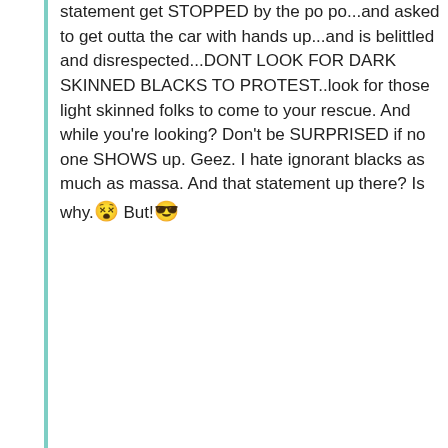statement get STOPPED by the po po...and asked to get outta the car with hands up...and is belittled and disrespected...DONT LOOK FOR DARK SKINNED BLACKS TO PROTEST..look for those light skinned folks to come to your rescue.  And while you're looking?  Don't be SURPRISED if no one SHOWS up.  Geez.  I hate ignorant blacks as much as massa.  And that statement up there?  Is why. 😵  But!😎
4/17/16 @ 11:02 AM
♥ 0
Norland
Future had 6 babies Ciara is the mother of one. She's gonna marry Russell. Her baby will have a